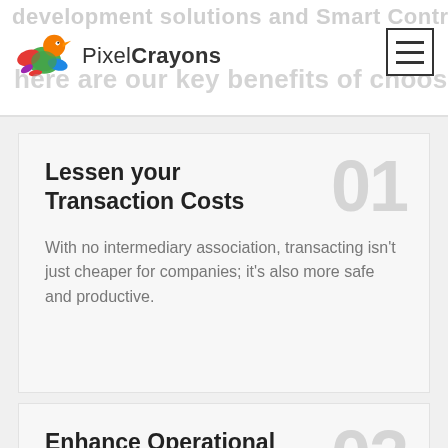development solutions and smart contracts ... here are our key benefits of choosing us
[Figure (logo): PixelCrayons logo with colorful bird and company name]
Lessen your Transaction Costs
With no intermediary association, transacting isn't just cheaper for companies; it's also more safe and productive.
Enhance Operational Efficiency
We'll assist you in cutting your transaction speeds